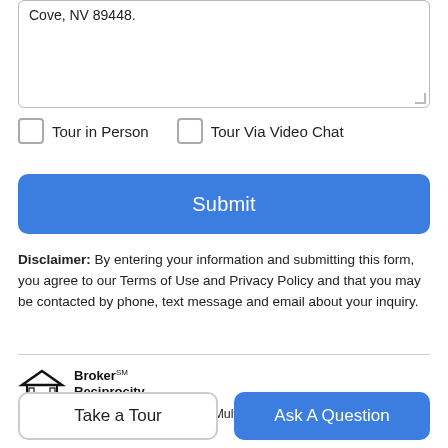Cove, NV 89448.
Tour in Person
Tour Via Video Chat
Submit
Disclaimer: By entering your information and submitting this form, you agree to our Terms of Use and Privacy Policy and that you may be contacted by phone, text message and email about your inquiry.
[Figure (logo): Broker Reciprocity logo with house icon]
© 2022 Northern Nevada Regional Multiple Listing Service® MLS.
Take a Tour
Ask A Question